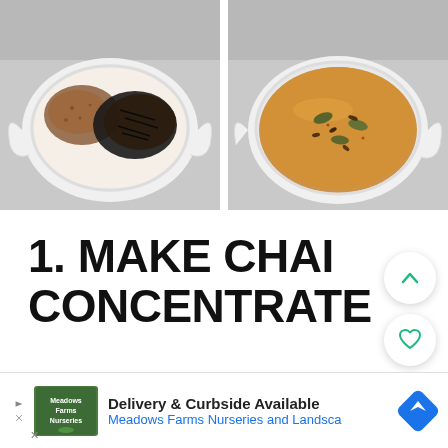[Figure (photo): Two side-by-side overhead photos of white ceramic bowls. Left bowl contains dry black tea leaves and brown spices/powder on a gray surface. Right bowl contains tea/spice mixture with visible cardamom pods and liquid on a gray surface.]
1. MAKE CHAI CONCENTRATE
[Figure (screenshot): Three UI overlay buttons on right side: an upward chevron arrow circle button (white), a heart/favorite circle button (white with green outline heart), and a search circle button (green background with white magnifying glass icon).]
[Figure (screenshot): Advertisement banner at bottom: Meadows Farms Nurseries and Landscape. Text: Delivery & Curbside Available. Blue navigation/map icon on right.]